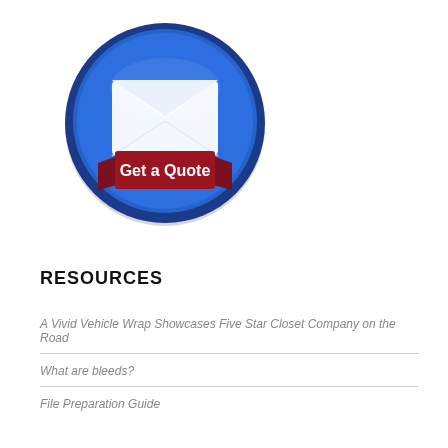[Figure (illustration): A circular blue button with a white envelope/mail icon in the center and a dark red ribbon banner across the lower portion reading 'Get a Quote' in bold white text. The button has a dark blue border with a subtle shadow.]
RESOURCES
A Vivid Vehicle Wrap Showcases Five Star Closet Company on the Road
What are bleeds?
File Preparation Guide